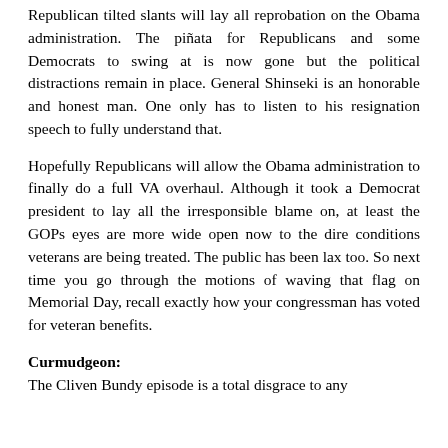Republican tilted slants will lay all reprobation on the Obama administration. The piñata for Republicans and some Democrats to swing at is now gone but the political distractions remain in place. General Shinseki is an honorable and honest man. One only has to listen to his resignation speech to fully understand that.
Hopefully Republicans will allow the Obama administration to finally do a full VA overhaul. Although it took a Democrat president to lay all the irresponsible blame on, at least the GOPs eyes are more wide open now to the dire conditions veterans are being treated. The public has been lax too. So next time you go through the motions of waving that flag on Memorial Day, recall exactly how your congressman has voted for veteran benefits.
Curmudgeon:
The Cliven Bundy episode is a total disgrace to any